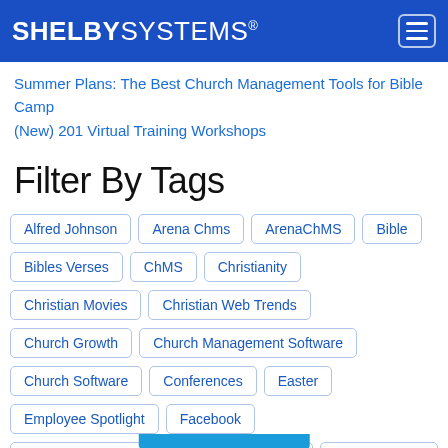SHELBY SYSTEMS®
Summer Plans: The Best Church Management Tools for Bible Camp
(New) 201 Virtual Training Workshops
Filter By Tags
Alfred Johnson
Arena Chms
ArenaChMS
Bible
Bibles Verses
ChMS
Christianity
Christian Movies
Christian Web Trends
Church Growth
Church Management Software
Church Software
Conferences
Easter
Employee Spotlight
Facebook
Faith-Based Films
Financials
Holiday
HQ Conference
International Shelby
ISC 2012
ISC 2013